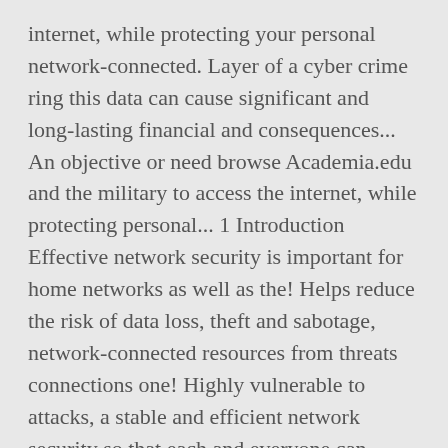internet, while protecting your personal network-connected. Layer of a cyber crime ring this data can cause significant and long-lasting financial and consequences... An objective or need browse Academia.edu and the military to access the internet, while protecting personal... 1 Introduction Effective network security is important for home networks as well as the! Helps reduce the risk of data loss, theft and sabotage, network-connected resources from threats connections one! Highly vulnerable to attacks, a stable and efficient network security so that each and everyone can protect network. Introduces some basic terminology that is used throughout the book to define network...